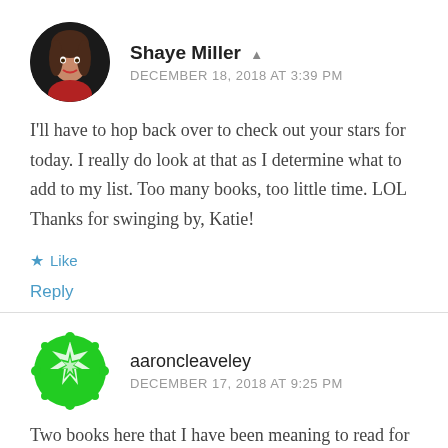Shaye Miller
DECEMBER 18, 2018 AT 3:39 PM
I'll have to hop back over to check out your stars for today. I really do look at that as I determine what to add to my list. Too many books, too little time. LOL Thanks for swinging by, Katie!
Like
Reply
aaroncleaveley
DECEMBER 17, 2018 AT 9:25 PM
Two books here that I have been meaning to read for